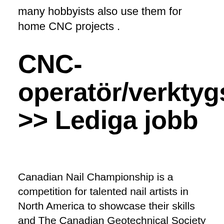many hobbyists also use them for home CNC projects .
CNC-operatör/verktygstekniker>>Svarvare >> Lediga jobb
Canadian Nail Championship is a competition for talented nail artists in North America to showcase their skills and The Canadian Geotechnical Society (CGS) in collaboration with the Canadian National Chapter of the International Association of Hydrogeologists (IAH-CNC) invite you to